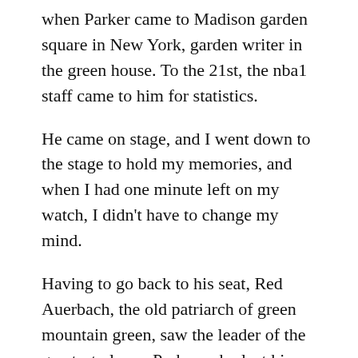when Parker came to Madison garden square in New York, garden writer in the green house. To the 21st, the nba1 staff came to him for statistics.
He came on stage, and I went down to the stage to hold my memories, and when I had one minute left on my watch, I didn't have to change my mind.
Having to go back to his seat, Red Auerbach, the old patriarch of green mountain green, saw the leader of the greatest player, Parker, who lost his position and stayed there. The Spurs began to actively discuss the deal before he was selected more than ten times.
They didn't succeed in the exchange for the top players and draft rights. They were all nervous all the way. They watched several retired teams with only vacant seats. They let go of Parker, so they got to the 27th pacer, who also needed it. David Stern